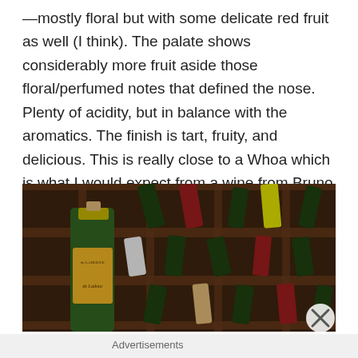—mostly floral but with some delicate red fruit as well (I think). The palate shows considerably more fruit aside those floral/perfumed notes that defined the nose. Plenty of acidity, but in balance with the aromatics. The finish is tart, fruity, and delicious. This is really close to a Whoa which is what I would expect from a wine from Bruno Paillard. Excellent. 91-93 Points.
[Figure (photo): Wine bottles stacked in a wooden wine rack, with a prominent yellow-labeled bottle from 'de Ladoucette' in the foreground]
Advertisements